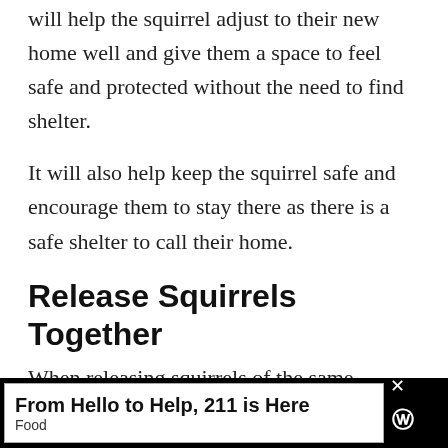will help the squirrel adjust to their new home well and give them a space to feel safe and protected without the need to find shelter.
It will also help keep the squirrel safe and encourage them to stay there as there is a safe shelter to call their home.
Release Squirrels Together
When releasing squirrels of the same species, you should try to release them together. Squirrels that are released alone will have a ha[rder time]...
[Figure (other): Advertisement banner: 'From Hello to Help, 211 is Here' with subtitle 'Food', close button X, and logo on black background.]